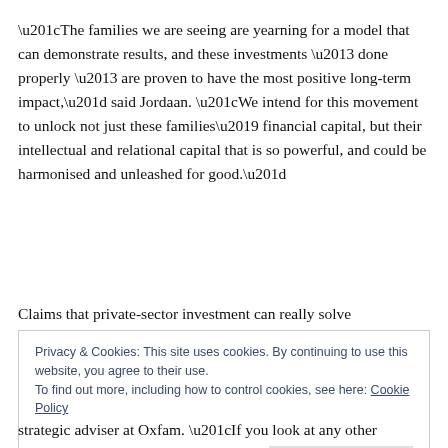“The families we are seeing are yearning for a model that can demonstrate results, and these investments – done properly – are proven to have the most positive long-term impact,” said Jordaan. “We intend for this movement to unlock not just these families’ financial capital, but their intellectual and relational capital that is so powerful, and could be harmonised and unleashed for good.”
Claims that private-sector investment can really solve
Privacy & Cookies: This site uses cookies. By continuing to use this website, you agree to their use.
To find out more, including how to control cookies, see here: Cookie Policy
Close and accept
strategic adviser at Oxfam. “If you look at any other